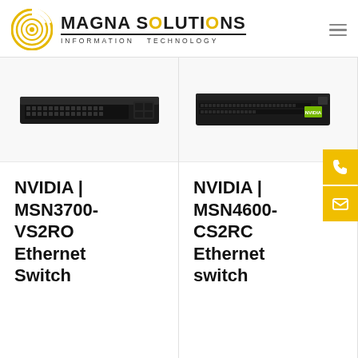[Figure (logo): Magna Solutions Information Technology logo with circular yellow/gold emblem and bold black company name]
[Figure (photo): NVIDIA MSN3700-VS2RO Ethernet Switch — black 1U rack-mount network switch with front ports]
NVIDIA | MSN3700-VS2RO Ethernet Switch
[Figure (photo): NVIDIA MSN4600-CS2RC Ethernet switch — black 1U rack-mount network switch with front-facing SFP ports]
NVIDIA | MSN4600-CS2RC Ethernet switch